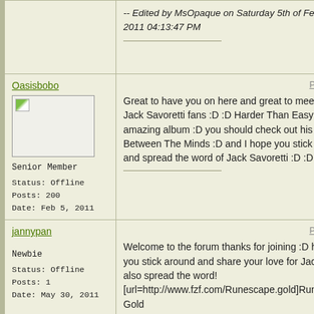-- Edited by MsOpaque on Saturday 5th of February 2011 04:13:47 PM
Oasisbobo
Permalink
[Figure (photo): Avatar placeholder image box with broken image icon]
Senior Member
Status: Offline
Posts: 200
Date: Feb 5, 2011
Great to have you on here and great to meet fellow Jack Savoretti fans :D :D Harder Than Easy is and amazing album :D you should check out his first Between The Minds :D and I hope you stick around and spread the word of Jack Savoretti :D :D
jannypan
Permalink
Newbie
Status: Offline
Posts: 1
Date: May 30, 2011
Welcome to the forum thanks for joining :D hope you stick around and share your love for Jack and also spread the word! [url=http://www.fzf.com/Runescape.gold]Runescape Gold